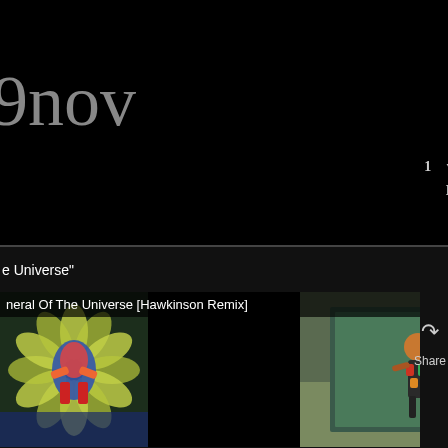9nov
about | sebastian | kevin | com...  events | booking | facebo...  random videos | artist vid...
1 video(s)
Big Fire
e Universe"
neral Of The Universe [Hawkinson Remix]
[Figure (screenshot): Screenshot of a website called 9nov showing a video page with two video thumbnails of 'Funeral Of The Universe [Hawkinson Remix]'. Left thumbnail shows colorful flower/mandala art, right thumbnail shows a figure/sculpture on green background. YouTube play button visible. Share button on right.]